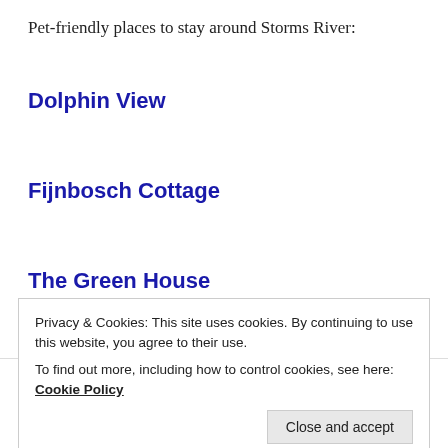Pet-friendly places to stay around Storms River:
Dolphin View
Fijnbosch Cottage
The Green House
NAMZ
APRIL 8, 2015
Privacy & Cookies: This site uses cookies. By continuing to use this website, you agree to their use.
To find out more, including how to control cookies, see here: Cookie Policy
Close and accept
LIKE THIS: